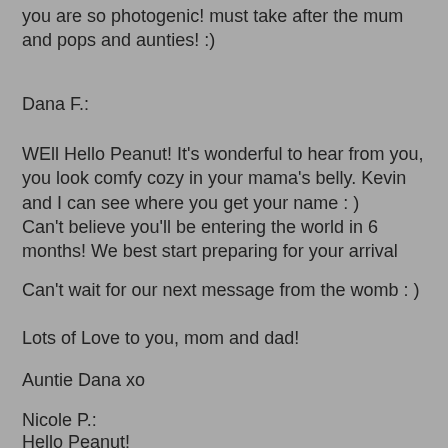you are so photogenic! must take after the mum and pops and aunties! :)
Dana F.:
WEll Hello Peanut! It's wonderful to hear from you, you look comfy cozy in your mama's belly. Kevin and I can see where you get your name : )
Can't believe you'll be entering the world in 6 months! We best start preparing for your arrival
Can't wait for our next message from the womb : )
Lots of Love to you, mom and dad!
Auntie Dana xo
Nicole P.:
Hello Peanut!